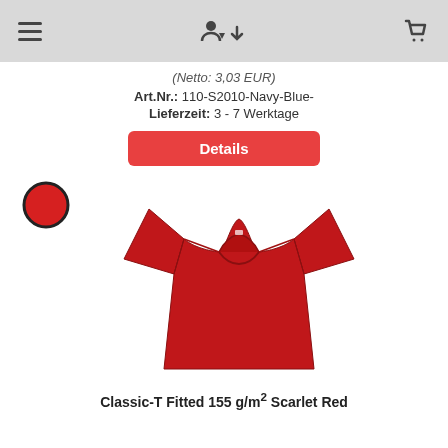Navigation bar with hamburger menu, user/login icon, and shopping cart icon
(Netto: 3,03 EUR)
Art.Nr.: 110-S2010-Navy-Blue-
Lieferzeit: 3 - 7 Werktage
Details
[Figure (illustration): Red filled circle with black border (color swatch) and a red fitted t-shirt product photo centered on white background]
Classic-T Fitted 155 g/m² Scarlet Red